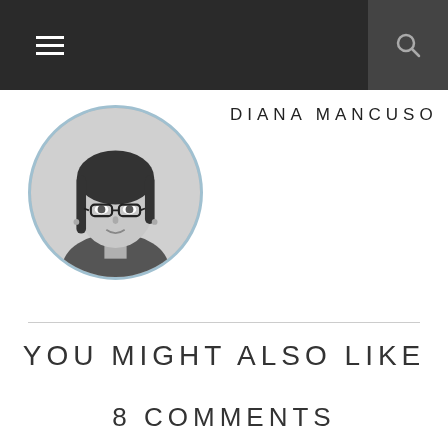Navigation header bar with hamburger menu and search icon
[Figure (photo): Black and white circular portrait photo of Diana Mancuso, a woman with glasses and dark hair]
DIANA MANCUSO
YOU MIGHT ALSO LIKE
8 COMMENTS